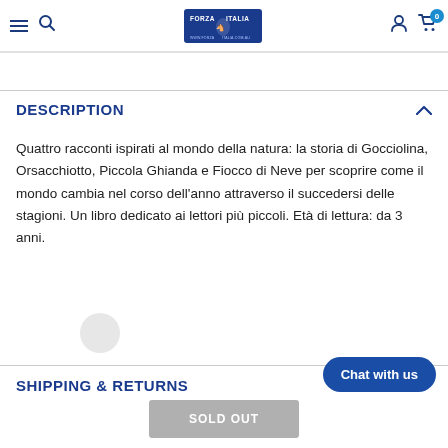Forza Italia navigation header with hamburger menu, search, logo, user icon, and cart (0)
DESCRIPTION
Quattro racconti ispirati al mondo della natura: la storia di Gocciolina, Orsacchiotto, Piccola Ghianda e Fiocco di Neve per scoprire come il mondo cambia nel corso dell'anno attraverso il succedersi delle stagioni. Un libro dedicato ai lettori più piccoli. Età di lettura: da 3 anni.
SHIPPING & RETURNS